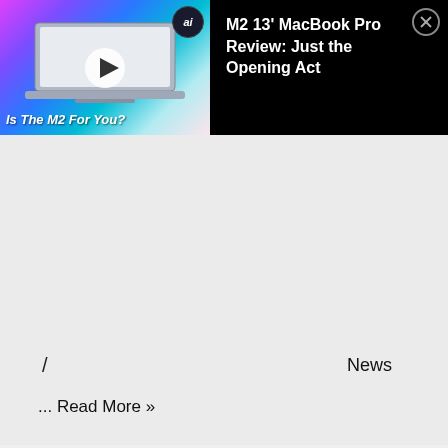[Figure (screenshot): Video thumbnail showing a MacBook laptop with colorful gradient background and text 'Is The M2 For You?' with a play button overlay and 'ai' badge]
M2 13' MacBook Pro Review: Just the Opening Act
/
News
... Read More »